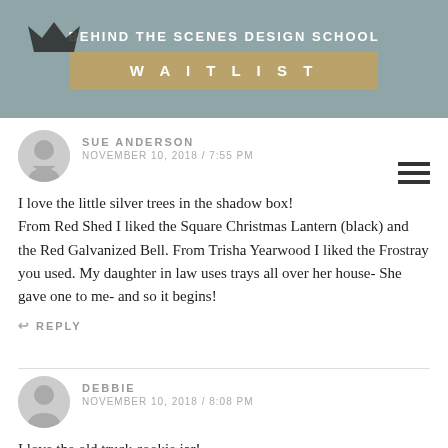BEHIND THE SCENES DESIGN SCHOOL WAITLIST
SUE ANDERSON
NOVEMBER 10, 2018 / 7:55 PM
I love the little silver trees in the shadow box! From Red Shed I liked the Square Christmas Lantern (black) and the Red Galvanized Bell. From Trisha Yearwood I liked the Frostray you used. My daughter in law uses trays all over her house- She gave one to me- and so it begins!
REPLY
DEBBIE
NOVEMBER 10, 2018 / 8:08 PM
I love the old truck cookie jar!